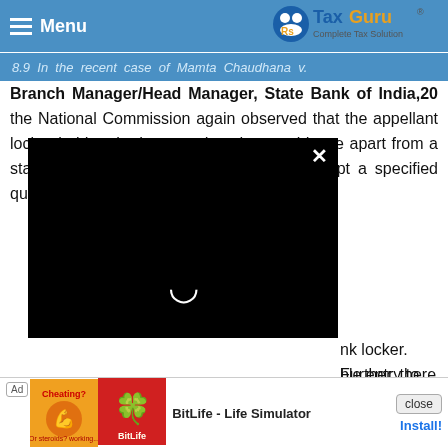Menu | TaxGuru - Complete Tax Solution
of elaborate evidence on both sides,
8.9  In the recent case of Mamta Chaudhana v. Branch Manager/Head Manager, State Bank of India,20 the National Commission again observed that the appellant locker holders had not produced any evidence apart from a standard affidavit to prove that they had kept a specified quantity of gold in the bank locker. Further, there was no available entry to the locker. [content obscured by video overlay] recovery of value of the [content obscured]
[Figure (screenshot): Black video player overlay with close (X) button and loading spinner]
...aforementioned conflicting decisions of the National Commission, we find that the approach adopted by the National Commission in the impugned judgment is the correct approach. In t... not disp... the
[Figure (infographic): Ad banner: BitLife - Life Simulator advertisement with Install button and close button]